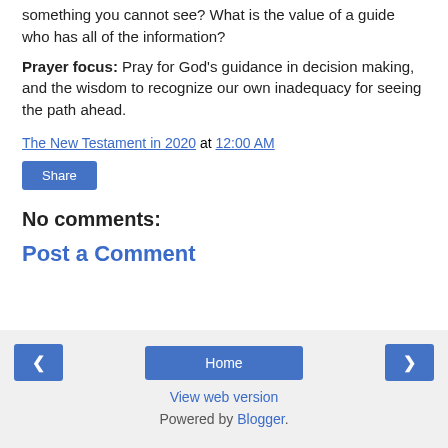something you cannot see? What is the value of a guide who has all of the information?
Prayer focus: Pray for God's guidance in decision making, and the wisdom to recognize our own inadequacy for seeing the path ahead.
The New Testament in 2020 at 12:00 AM
Share
No comments:
Post a Comment
◄  Home  ►  View web version  Powered by Blogger.